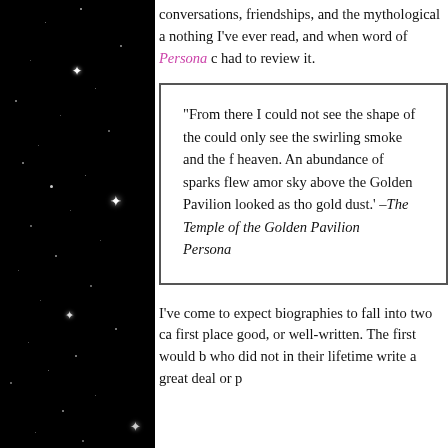conversations, friendships, and the mythological a nothing I've ever read, and when word of Persona c had to review it.
“From there I could not see the shape of the could only see the swirling smoke and the f heaven. An abundance of sparks flew amor sky above the Golden Pavilion looked as tho gold dust.’ –The Temple of the Golden Pavilion Persona
I’ve come to expect biographies to fall into two ca first place good, or well-written. The first would b who did not in their lifetime write a great deal or p